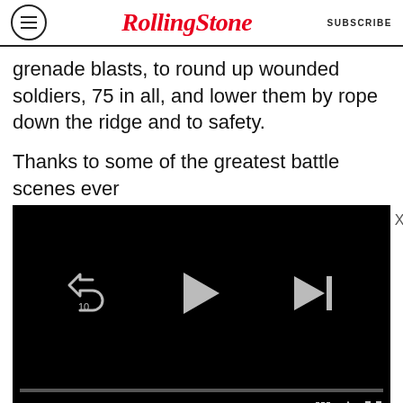RollingStone | SUBSCRIBE
grenade blasts, to round up wounded soldiers, 75 in all, and lower them by rope down the ridge and to safety.
Thanks to some of the greatest battle scenes ever
[Figure (screenshot): Embedded video player with black screen showing media controls: rewind 10 seconds button, play button, skip-to-end button, progress bar at 00:00 / 02:27, mute icon, grid/chapters icon, settings gear icon, fullscreen icon.]